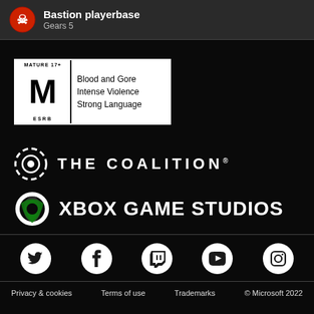Bastion playerbase
Gears 5
[Figure (logo): ESRB Mature 17+ rating box with M logo and content descriptors: Blood and Gore, Intense Violence, Strong Language]
[Figure (logo): The Coalition logo with circular gear-like emblem]
[Figure (logo): Xbox Game Studios logo with Xbox sphere icon]
[Figure (infographic): Social media icons: Twitter, Facebook, Twitch, YouTube, Instagram]
Privacy & cookies   Terms of use   Trademarks   © Microsoft 2022